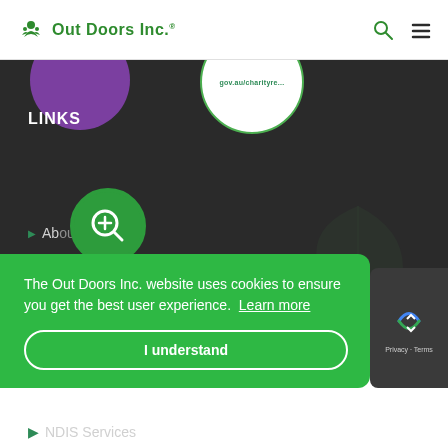Out Doors Inc.
LINKS
▶ About
▶ Contact Us
The Out Doors Inc. website uses cookies to ensure you get the best user experience. Learn more
I understand
▶ NDIS Services